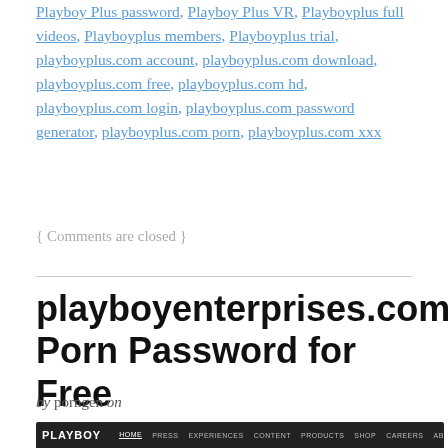Playboy Plus password, Playboy Plus VR, Playboyplus full videos, Playboyplus members, Playboyplus trial, playboyplus.com account, playboyplus.com download, playboyplus.com free, playboyplus.com hd, playboyplus.com login, playboyplus.com password generator, playboyplus.com porn, playboyplus.com xxx
{ Comments are closed }
playboyenterprises.com Porn Password for Free
by porngen on
[Figure (screenshot): Screenshot of Playboy website with dark navigation bar showing PLAYBOY logo and nav items: HOME, PRESS, EXPERIENCES, CONTENT, PRODUCTS, SHOP, CAREERS, ABOUT, CONTACT, and social icons]